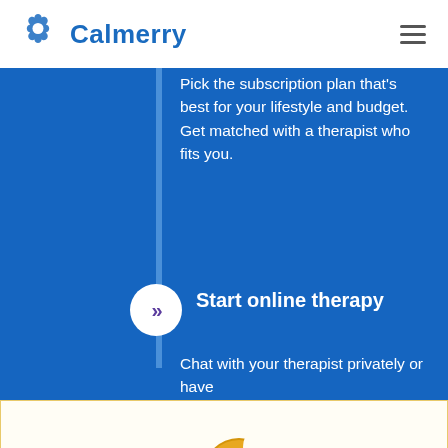Calmerry
Pick the subscription plan that's best for your lifestyle and budget. Get matched with a therapist who fits you.
Start online therapy
Chat with your therapist privately or have
[Figure (illustration): Cookie icon showing two cookies, one with a bite taken out]
This site requires anonymous cookies and third party services to function properly. This site may store and process health-related data for purposes of providing counseling and related services. To continue using Calmerry, you must consent to our Privacy Policy. You can opt-out at any time.